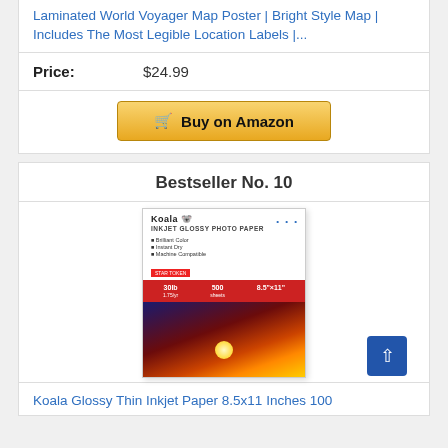Laminated World Voyager Map Poster | Bright Style Map | Includes The Most Legible Location Labels |...
Price: $24.99
Buy on Amazon
Bestseller No. 10
[Figure (photo): Koala Inkjet Glossy Photo Paper product box showing 30lb, 500 sheets, 8.5x11 inches with a sunset sailboat scene]
Koala Glossy Thin Inkjet Paper 8.5x11 Inches 100